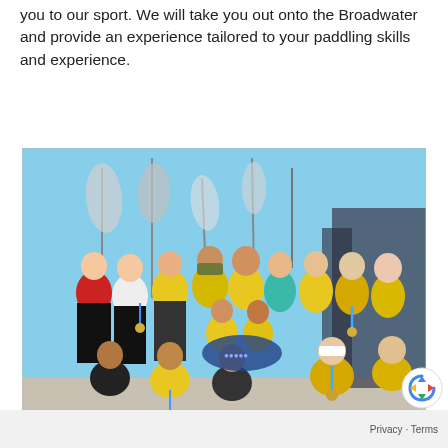you to our sport. We will take you out onto the Broadwater and provide an experience tailored to your paddling skills and experience.
[Figure (photo): Group photo of a sports team wearing yellow and teal paddling uniforms and medals, posing outdoors at what appears to be a paddling/dragon boat event with flags and waterfront in the background.]
Privacy · Terms